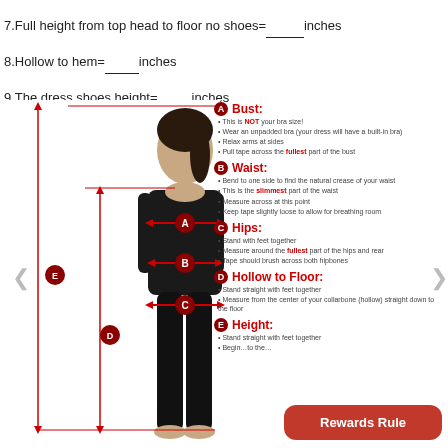7.Full height from top head to floor no shoes=_____inches
8.Hollow to hem=_____inches
9.The dress shoes height=_____inches
[Figure (illustration): Measurement guide diagram showing a woman in black outfit with red arrows indicating bust (A), waist (B), hips (C), and labels D (hollow to floor) and E (height) on the left side.]
A Bust: This is NOT your bra size! Wear an unpadded bra (your dress will have a built-in bra). Relax arms at sides. Pull tape across the fullest part of the bust.
B Waist: Bend to one side to find the natural crease of your waist. This is the slimmest part of the waist. Measure across at this point. Keep tape slightly loose to allow for breathing room.
C Hips: Stand with feet together. Measure around the fullest part of the hips and rear. Tape should brush across both hipbones.
D Hollow to Floor: Stand straight with feet together. Measure from the center of your collarbone (hollow) straight down to the floor.
E Height: Stand straight with feet together. Begin...to the...
Rewards Rule